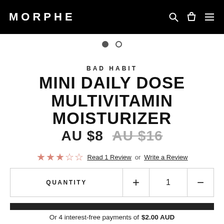MORPHE
[Figure (other): Carousel dots: one filled, one empty]
BAD HABIT
MINI DAILY DOSE MULTIVITAMIN MOISTURIZER
AU $8  AU $16
★★★☆☆ Read 1 Review or Write a Review
| QUANTITY | + | 1 | − |
| --- | --- | --- | --- |
ADD TO BAG
Or 4 interest-free payments of $2.00 AUD